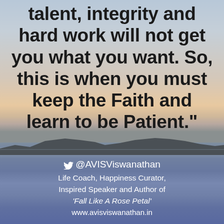[Figure (photo): Sunset/sunrise landscape photo with a calm lake or sea in the foreground, mountain silhouettes on the horizon, and a gradient sky transitioning from light blue-grey at top to warm peach/orange near the horizon.]
talent, integrity and hard work will not get you what you want. So, this is when you must keep the Faith and learn to be Patient."
@AVISViswanathan
Life Coach, Happiness Curator,
Inspired Speaker and Author of
'Fall Like A Rose Petal'
www.avisviswanathan.in